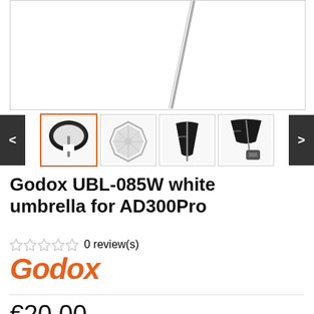[Figure (photo): Main product image showing top portion of Godox UBL-085W white umbrella with pole visible against white background]
[Figure (photo): Thumbnail gallery showing 4 product images of Godox UBL-085W umbrella from different angles: (1) open umbrella from front-active, (2) octagon softbox view from below, (3) closed umbrella side view, (4) umbrella mounted on flash unit]
Godox UBL-085W white umbrella for AD300Pro
0 review(s)
[Figure (logo): Godox brand logo in orange italic bold text]
€20.00